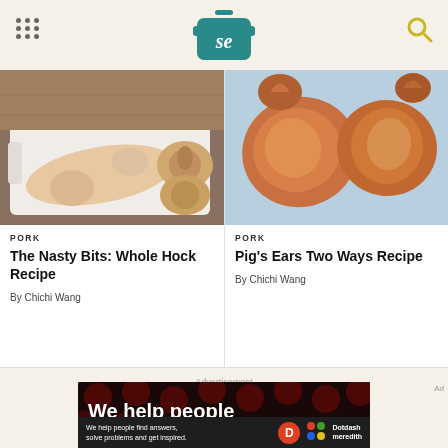Serious Eats - se logo header with navigation dots and search icon
[Figure (photo): Raw pork hock on a white cutting board with cross-section cuts showing bone and meat]
PORK
The Nasty Bits: Whole Hock Recipe
By Chichi Wang
[Figure (photo): Two raw pig ears on a light blue surface showing skin texture]
PORK
Pig's Ears Two Ways Recipe
By Chichi Wang
Advertisement
[Figure (screenshot): Advertisement banner reading 'We help people' with dark background and red circles, Dotdash Meredith branding at bottom]